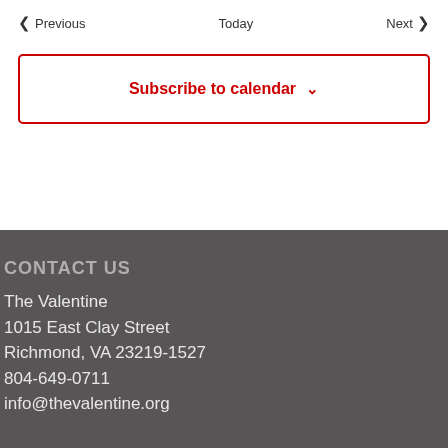< Previous   Today   Next >
Subscribe to calendar ∨
CONTACT US
The Valentine
1015 East Clay Street
Richmond, VA 23219-1527
804-649-0711
info@thevalentine.org